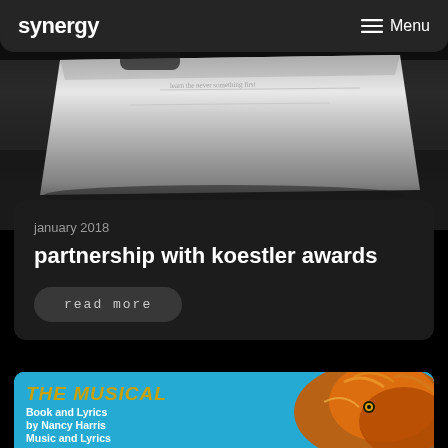synergy  Menu
[Figure (photo): Black and white photo of a person writing in a white notebook, viewed from above, slightly blurred/bokeh background]
january 2018
partnership with koestler awards
read more
[Figure (photo): THE MUSICAL poster with golden/yellow text on cyan/blue background with a cartoon animal on the right side. Book and Lyrics by Nancy Harris, Music and Lyrics by...]